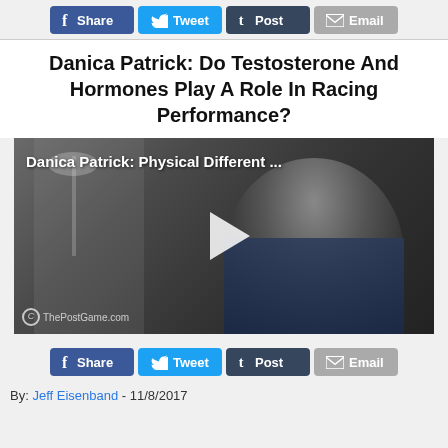[Figure (screenshot): Social sharing buttons bar: Facebook Share, Twitter Tweet, Tumblr Post, Email]
Danica Patrick: Do Testosterone And Hormones Play A Role In Racing Performance?
[Figure (screenshot): Video thumbnail showing Danica Patrick seated in a room. Title overlay reads 'Danica Patrick: Physical Different ...' with a play button in the center. Watermark reads 'ThePostGame.com']
[Figure (screenshot): Social sharing buttons bar (bottom): Facebook Share, Twitter Tweet, Tumblr Post, Email]
By: Jeff Eisenband - 11/8/2017